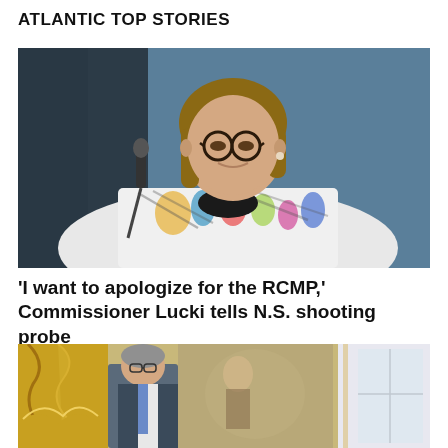ATLANTIC TOP STORIES
[Figure (photo): Woman with short brown hair and glasses wearing a colorful zebra-print jacket, speaking at a microphone. Dark bluish background.]
'I want to apologize for the RCMP,' Commissioner Lucki tells N.S. shooting probe
[Figure (photo): Man standing in front of ornate golden decor and a flag, partially visible.]